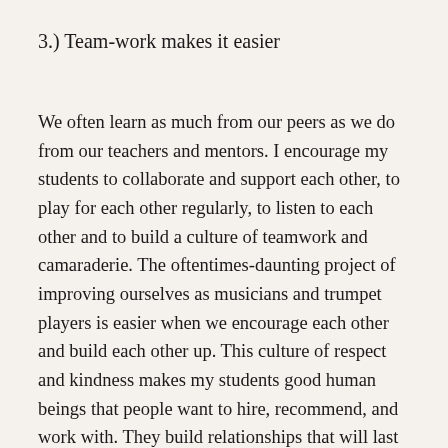3.) Team-work makes it easier
We often learn as much from our peers as we do from our teachers and mentors. I encourage my students to collaborate and support each other, to play for each other regularly, to listen to each other and to build a culture of teamwork and camaraderie. The oftentimes-daunting project of improving ourselves as musicians and trumpet players is easier when we encourage each other and build each other up. This culture of respect and kindness makes my students good human beings that people want to hire, recommend, and work with. They build relationships that will last a lifetime.